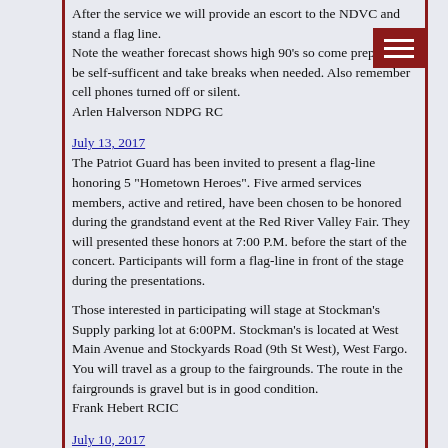After the service we will provide an escort to the NDVC and stand a flag line.
Note the weather forecast shows high 90's so come prepared to be self-sufficent and take breaks when needed. Also remember cell phones turned off or silent.
Arlen Halverson NDPG RC
July 13, 2017
The Patriot Guard has been invited to present a flag-line honoring 5 "Hometown Heroes". Five armed services members, active and retired, have been chosen to be honored during the grandstand event at the Red River Valley Fair. They will presented these honors at 7:00 P.M. before the start of the concert. Participants will form a flag-line in front of the stage during the presentations.
Those interested in participating will stage at Stockman's Supply parking lot at 6:00PM. Stockman's is located at West Main Avenue and Stockyards Road (9th St West), West Fargo. You will travel as a group to the fairgrounds. The route in the fairgrounds is gravel but is in good condition.
Frank Hebert RCIC
July 10, 2017
The Patriot Guard has been asked to assist in escorting the 9/11 Never Forget Memorial from just east of Moorhead, MN to the Red River Valley Fairgrounds in West Fargo, ND. Staging will be at Titan Machinery, 3314 – 70th St So, Glyndon, MN. Titan is located south of I-94 from Exit 6 east of